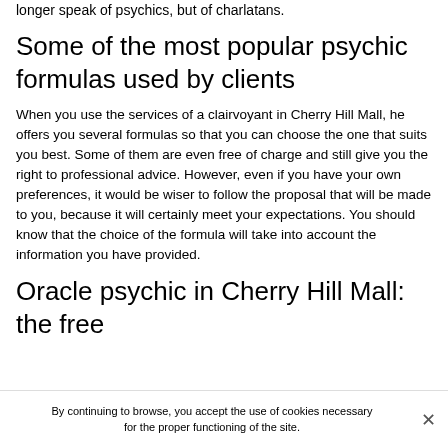longer speak of psychics, but of charlatans.
Some of the most popular psychic formulas used by clients
When you use the services of a clairvoyant in Cherry Hill Mall, he offers you several formulas so that you can choose the one that suits you best. Some of them are even free of charge and still give you the right to professional advice. However, even if you have your own preferences, it would be wiser to follow the proposal that will be made to you, because it will certainly meet your expectations. You should know that the choice of the formula will take into account the information you have provided.
Oracle psychic in Cherry Hill Mall: the free
By continuing to browse, you accept the use of cookies necessary for the proper functioning of the site.